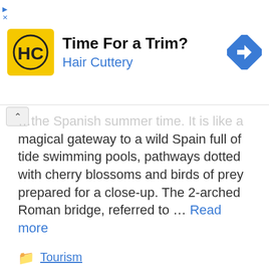[Figure (other): Hair Cuttery advertisement banner with yellow logo, text 'Time For a Trim? Hair Cuttery', and blue direction sign icon]
…the Spanish summer time. It is like a magical gateway to a wild Spain full of tide swimming pools, pathways dotted with cherry blossoms and birds of prey prepared for a close-up. The 2-arched Roman bridge, referred to … Read more
Tourism
Airport, climate, cruises, Europe, heat, leaf, Madrid, mothers, Spain, Summer, tourism, travel, vacation, weather forecast
Leave a comment